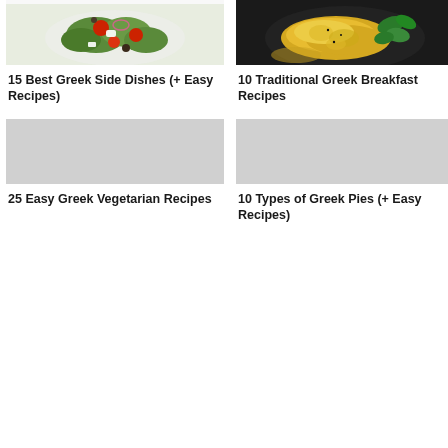[Figure (photo): Top-down view of a Greek salad with tomatoes, olives, feta, onions, and greens in a bowl]
15 Best Greek Side Dishes (+ Easy Recipes)
[Figure (photo): Scrambled eggs with herbs and basil leaves on a dark plate]
10 Traditional Greek Breakfast Recipes
[Figure (photo): Greek vegetarian dish placeholder image]
25 Easy Greek Vegetarian Recipes
[Figure (photo): Greek pies dish placeholder image]
10 Types of Greek Pies (+ Easy Recipes)